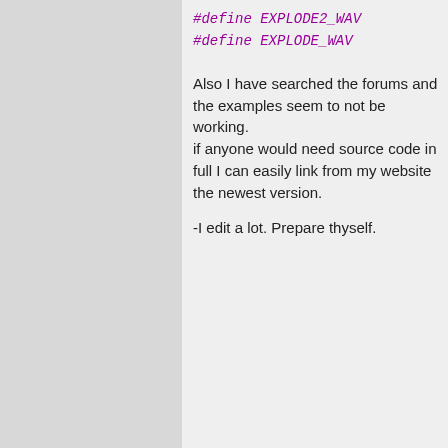#define EXPLODE2_WAV
#define EXPLODE_WAV
Also I have searched the forums and the examples seem to not be working.
if anyone would need source code in full I can easily link from my website the newest version.

-I edit a lot. Prepare thyself.
Billybob
Member #3,136
January 2003
Posted on 08/06/2006 1:22 AM
Would you mind showing your code for loading from the dat file? Here's an example, if it helps any:
// Do this once to load the enti
DATAFILE *datafile = load_datafi

// Example of how to get somethi
sounds[1] = datafile[EXPLODE_WAV

// At the end of your program
unload_datafile(datafile);